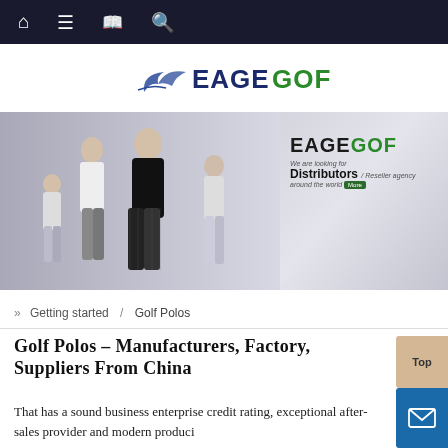Navigation bar with home, menu, book, and search icons
[Figure (logo): EAGEGOF logo with stylized bird/wave mark in blue and green lettering]
[Figure (photo): Banner image showing golf apparel models (man, woman, two girls) wearing black and white/plaid golf clothing, with EAGEGOF brand text and 'We are looking for Distributors / Reseller agency around the world' text on right side]
» Getting started / Golf Polos
Golf Polos - Manufacturers, Factory, Suppliers From China
That has a sound business enterprise credit rating, exceptional after-sales provider and modern produci